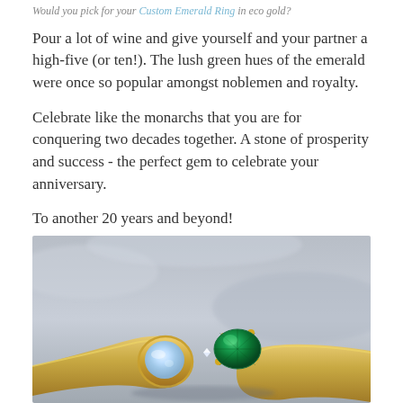Would you pick for your Custom Emerald Ring in eco gold?
Pour a lot of wine and give yourself and your partner a high-five (or ten!). The lush green hues of the emerald were once so popular amongst noblemen and royalty.
Celebrate like the monarchs that you are for conquering two decades together. A stone of prosperity and success - the perfect gem to celebrate your anniversary.
To another 20 years and beyond!
[Figure (photo): Close-up photo of two rings side by side on a grey stone surface: a gold ring with a white opal stone on the left, and a gold ring with a large oval emerald gemstone in a claw setting on the right, with small diamond accents.]